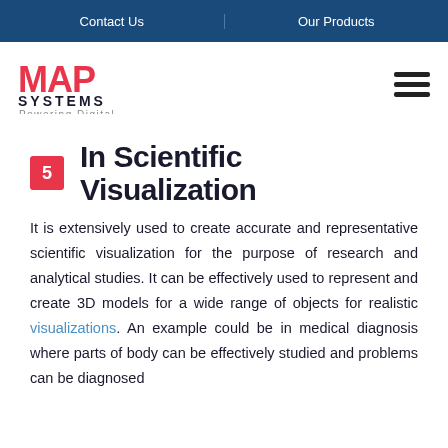Contact Us | Our Products
[Figure (logo): MAP Systems logo — bold red MAP text, dark SYSTEMS text below, gray 'Powering Digital' tagline]
5 In Scientific Visualization
It is extensively used to create accurate and representative scientific visualization for the purpose of research and analytical studies. It can be effectively used to represent and create 3D models for a wide range of objects for realistic visualizations. An example could be in medical diagnosis where parts of body can be effectively studied and problems can be diagnosed